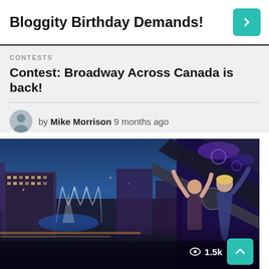Bloggity Birthday Demands!
CONTESTS
Contest: Broadway Across Canada is back!
by Mike Morrison 9 months ago
[Figure (photo): Aerial night view of Las Vegas Strip with the Bellagio fountains visible, people on a ride in the foreground with arms raised, looking excited.]
1.5k